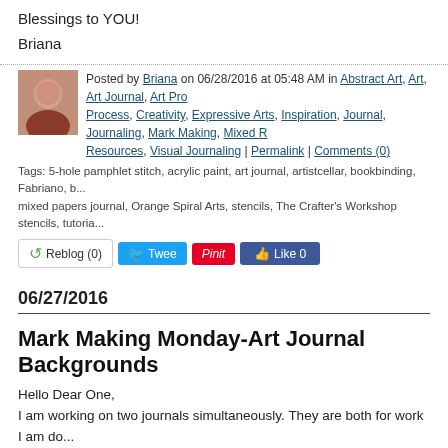Blessings to YOU!
Briana
Posted by Briana on 06/28/2016 at 05:48 AM in Abstract Art, Art, Art Journal, Art Process, Creativity, Expressive Arts, Inspiration, Journal, Journaling, Mark Making, Mixed Media Resources, Visual Journaling | Permalink | Comments (0)
Tags: 5-hole pamphlet stitch, acrylic paint, art journal, artistcellar, bookbinding, Fabriano, mixed papers journal, Orange Spiral Arts, stencils, The Crafter's Workshop stencils, tutorial
06/27/2016
Mark Making Monday-Art Journal Backgrounds
Hello Dear One,
I am working on two journals simultaneously. They are both for work I am doing. The first is my Creative + Practice sketchbook. The second journal is for working as an Entrepreneur. I just started the second journal this weekend. The pages I am sharing in this post are from my second journal.
You probably know by now that I love stencils and mixed media art supplies (share your favorites in the comments below, so we may inspire one another).
For these pages, I have used acrylic paint, a paint scraper, stencils, and ne